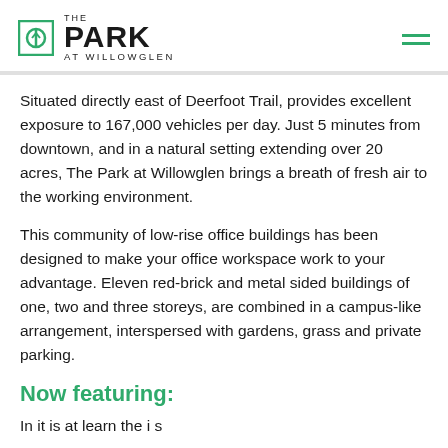[Figure (logo): The Park at Willowglen logo with green square icon and hamburger menu icon]
Situated directly east of Deerfoot Trail, provides excellent exposure to 167,000 vehicles per day. Just 5 minutes from downtown, and in a natural setting extending over 20 acres, The Park at Willowglen brings a breath of fresh air to the working environment.
This community of low-rise office buildings has been designed to make your office workspace work to your advantage. Eleven red-brick and metal sided buildings of one, two and three storeys, are combined in a campus-like arrangement, interspersed with gardens, grass and private parking.
Now featuring:
In it is at learn the i s